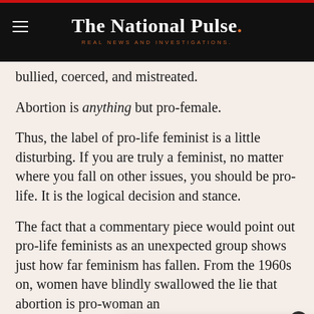The National Pulse. REAL NEWS AND INVESTIGATIONS.
bullied, coerced, and mistreated.
Abortion is anything but pro-female.
Thus, the label of pro-life feminist is a little disturbing. If you are truly a feminist, no matter where you fall on other issues, you should be pro-life. It is the logical decision and stance.
The fact that a commentary piece would point out pro-life feminists as an unexpected group shows just how far feminism has fallen. From the 1960s on, women have blindly swallowed the lie that abortion is pro-woman an... chains they wis...
[Figure (screenshot): Notification popup showing FBI agents image with headline: FBI's 'Supervisory Intelligence Analyst' and timestamp '1 day ago']
Abortion is not pro-female, but instead damagir